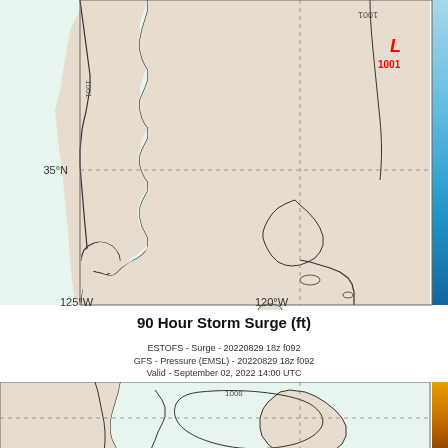[Figure (map): Top map panel showing ESTOFS storm surge map of California coast with GFS pressure contours. Shows coastline, isobar contour labeled 1001, dashed gridlines, latitude label 35°N, longitude labels 125°W and 120°W. Red 'L 1001' low pressure symbol in upper right. Blue color scale bar on right edge. Land areas in light beige/tan, ocean in light green-white. Contour line labeled 1001 visible.]
90 Hour Storm Surge (ft)
[Figure (map): Bottom map panel showing ESTOFS storm surge and GFS pressure map. Header text: ESTOFS - Surge - 20220829 18z f092 / GFS - Pressure (EMSL) - 20220829 18z f092 / Valid - September 02, 2022 14:00 UTC. Shows California coastline with pressure contour labeled 1008, dashed gridlines. Orange/brown color scale bar on right edge. Land in light beige, ocean in light mint/green.]